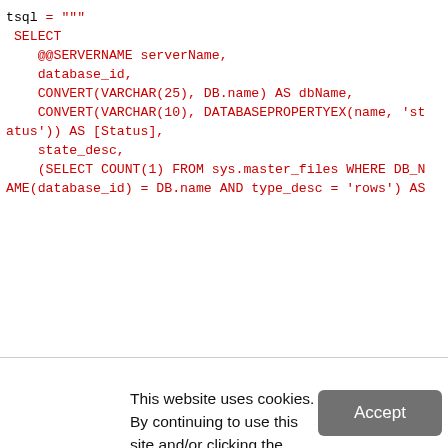[Figure (screenshot): Code block showing SQL query in red monospace font on white background with border. Code: tsql = """ SELECT @@SERVERNAME serverName, database_id, CONVERT(VARCHAR(25), DB.name) AS dbName, CONVERT(VARCHAR(10), DATABASEPROPERTYEX(name, 'status')) AS [Status], state_desc, (SELECT COUNT(1) FROM sys.master_files WHERE DB_NAME(database_id) = DB.name AND type_desc = 'rows') AS]
This website uses cookies. By continuing to use this site and/or clicking the "Accept" button you are providing consent
Quest Software and its affiliates do NOT sell the Personal Data you provide to us either when you register on our websites or when you do business with us. For more information about our Privacy Policy and our data protection efforts, please visit GDPR-HQ